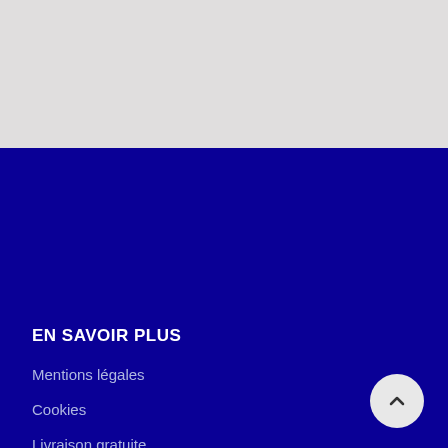[Figure (other): Light grey blank area at top of page]
EN SAVOIR PLUS
Mentions légales
Cookies
Livraison gratuite
Stripe paiement
COMMANDES